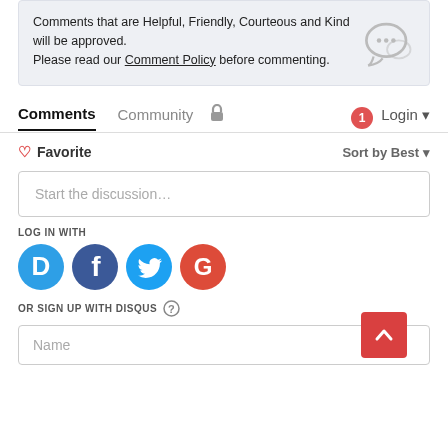Comments that are Helpful, Friendly, Courteous and Kind will be approved. Please read our Comment Policy before commenting.
Comments  Community  Login
Favorite  Sort by Best
Start the discussion...
LOG IN WITH
OR SIGN UP WITH DISQUS
Name